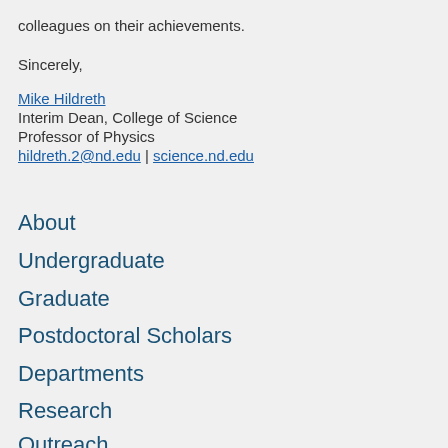colleagues on their achievements.
Sincerely,
Mike Hildreth
Interim Dean, College of Science
Professor of Physics
hildreth.2@nd.edu | science.nd.edu
About
Undergraduate
Graduate
Postdoctoral Scholars
Departments
Research
Outreach